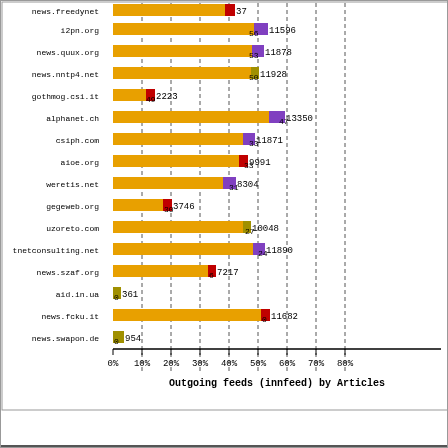[Figure (bar-chart): Outgoing feeds (innfeed) by Articles]
Outgoing feeds (innfeed) by Articles